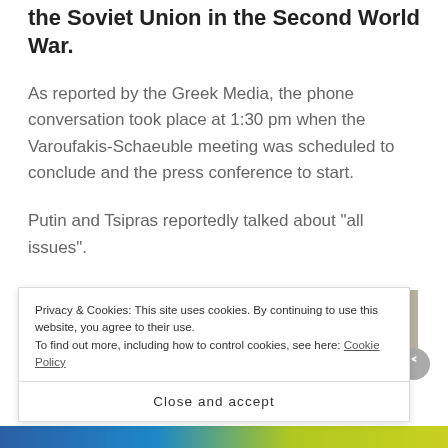the Soviet Union in the Second World War.
As reported by the Greek Media, the phone conversation took place at 1:30 pm when the Varoufakis-Schaeuble meeting was scheduled to conclude and the press conference to start.
Putin and Tsipras reportedly talked about “all issues”.
[Figure (photo): Two people photographed side by side. Left: person with dark hair against a blue background. Right: person with light/grey hair against a neutral background.]
Privacy & Cookies: This site uses cookies. By continuing to use this website, you agree to their use.
To find out more, including how to control cookies, see here: Cookie Policy
Close and accept